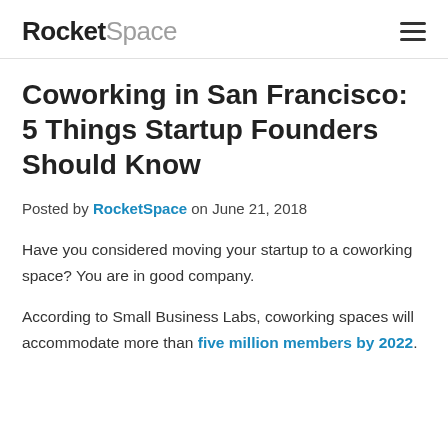RocketSpace
Coworking in San Francisco: 5 Things Startup Founders Should Know
Posted by RocketSpace on June 21, 2018
Have you considered moving your startup to a coworking space? You are in good company.
According to Small Business Labs, coworking spaces will accommodate more than five million members by 2022.